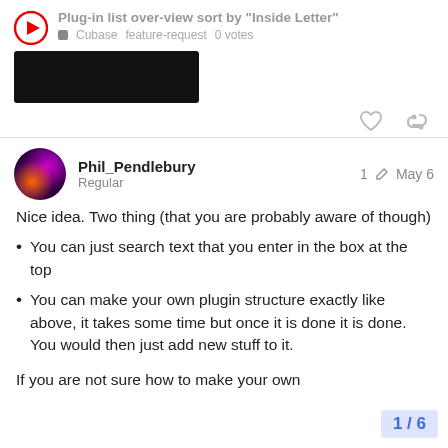Plug-in list over-view sort by "Inside Letter" ■ Cubase feature-request 0 votes
[Figure (screenshot): Dark/black rectangular image block, likely a screenshot thumbnail]
Phil_Pendlebury Regular  1 ✎  May 6
Nice idea. Two thing (that you are probably aware of though)
You can just search text that you enter in the box at the top
You can make your own plugin structure exactly like above, it takes some time but once it is done it is done. You would then just add new stuff to it.
If you are not sure how to make your own
1 / 6